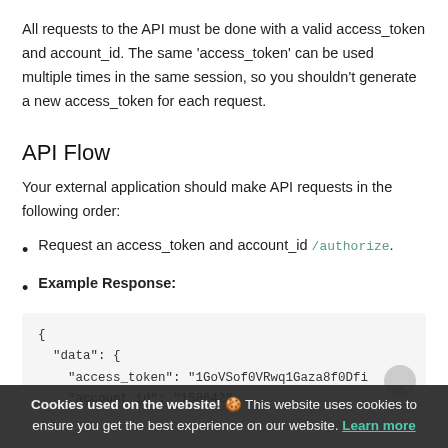All requests to the API must be done with a valid access_token and account_id. The same 'access_token' can be used multiple times in the same session, so you shouldn't generate a new access_token for each request.
API Flow
Your external application should make API requests in the following order:
Request an access_token and account_id /authorize.
Example Response:
{
  "data": {
    "access_token": "1GoVSof0VRwq1Gaza8f0Dfi    3j
    "account_id": "158642"
  },
  "status": "success"
Cookies used on the website! 🍪 This website uses cookies to ensure you get the best experience on our website. Learn more